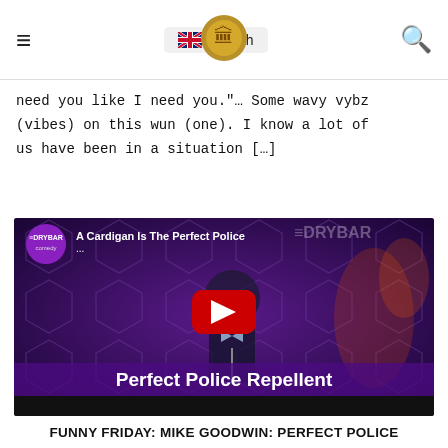≡  🇬🇧 English  [logo]  🔍
need you like I need you."… Some wavy vybz (vibes) on this wun (one). I know a lot of us have been in a situation […]
[Figure (screenshot): Dry Bar Comedy YouTube video thumbnail showing comedian Mike Goodwin on stage, with title 'A Cardigan Is The Perfect Police...' and text overlay 'Perfect Police Repellent / MIKE GOODWIN']
FUNNY FRIDAY: MIKE GOODWIN: PERFECT POLICE